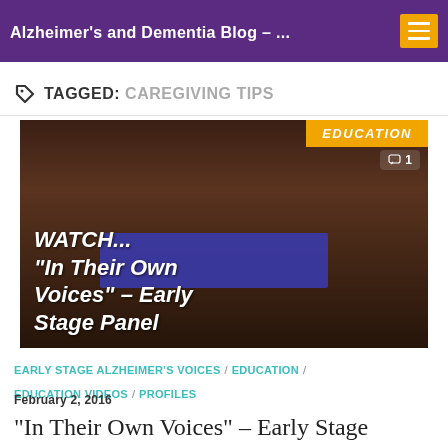Alzheimer's and Dementia Blog – ...
TAGGED: CAREGIVING TIPS
[Figure (photo): Panel discussion at an Alzheimer's Association event. Text overlay reads: WATCH... "In Their Own Voices" - Early Stage Panel. EDUCATION badge and comment icon visible.]
EARLY STAGE ALZHEIMER'S VOICES / EDUCATION / EDUCATION VIDEOS / PROFILES
FEBRUARY 2, 2016
“In Their Own Voices” – Early Stage